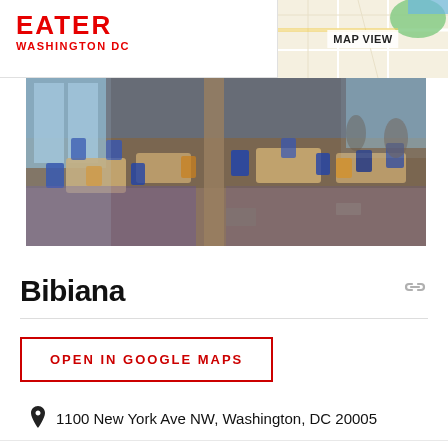EATER WASHINGTON DC
[Figure (photo): Map thumbnail showing Washington DC street map with green and blue areas, used as MAP VIEW button background]
[Figure (photo): Interior photo of Bibiana restaurant showing dining room with blue upholstered chairs and wooden furniture]
Bibiana
OPEN IN GOOGLE MAPS
1100 New York Ave NW, Washington, DC 20005
202-216-9550